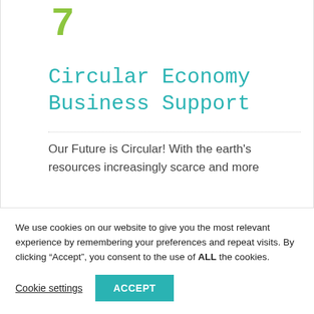[Figure (illustration): Green stylized number or icon at top of page]
Circular Economy Business Support
Our Future is Circular! With the earth's resources increasingly scarce and more
We use cookies on our website to give you the most relevant experience by remembering your preferences and repeat visits. By clicking “Accept”, you consent to the use of ALL the cookies.